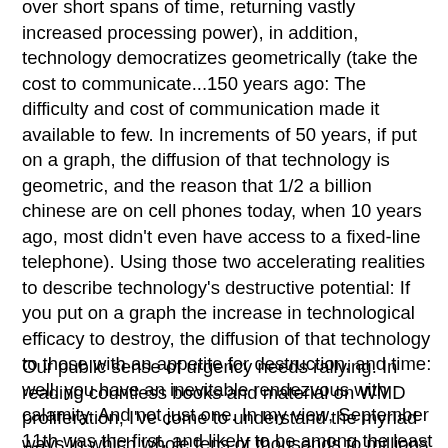over short spans of time, returning vastly increased processing power), in addition, technology democratizes geometrically (take the cost to communicate...150 years ago: The difficulty and cost of communication made it available to few. In increments of 50 years, if put on a graph, the diffusion of that technology is geometric, and the reason that 1/2 a billion chinese are on cell phones today, when 10 years ago, most didn't even have access to a fixed-line telephone). Using those two accelerating realities to describe technology's destructive potential: If you put on a graph the increase in technological efficacy to destroy, the diffusion of that technology to those with an appetite for destruction, and time: well, you have an inevitable rendezvous with calamity. And not just one. In my view, September 11th was the first, and likely to be among the least destructive types of consequence owing to that intersection between angry men, and the ever increasing empowerment technology affords.
Our public sense of urgency needs rallying. In reading countless books and material on WMD proliferation, I've come to understand the myriad ways in which whole tens of thousands to millions of innocent civilians could be killed